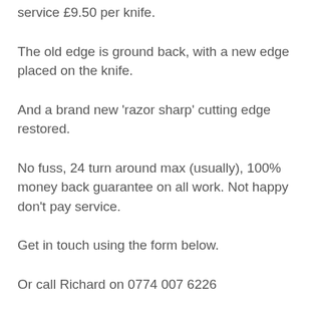service £9.50 per knife.
The old edge is ground back, with a new edge placed on the knife.
And a brand new ‘razor sharp’ cutting edge restored.
No fuss, 24 turn around max (usually), 100% money back guarantee on all work. Not happy don’t pay service.
Get in touch using the form below.
Or call Richard on 0774 007 6226